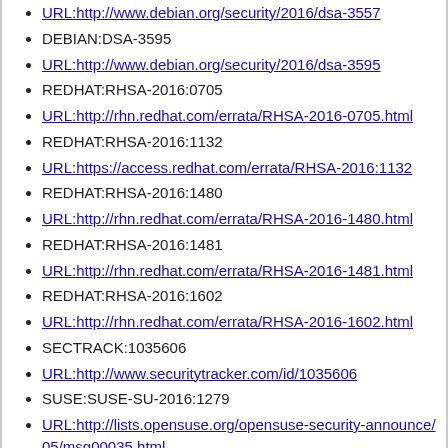URL:http://www.debian.org/security/2016/dsa-3557
DEBIAN:DSA-3595
URL:http://www.debian.org/security/2016/dsa-3595
REDHAT:RHSA-2016:0705
URL:http://rhn.redhat.com/errata/RHSA-2016-0705.html
REDHAT:RHSA-2016:1132
URL:https://access.redhat.com/errata/RHSA-2016:1132
REDHAT:RHSA-2016:1480
URL:http://rhn.redhat.com/errata/RHSA-2016-1480.html
REDHAT:RHSA-2016:1481
URL:http://rhn.redhat.com/errata/RHSA-2016-1481.html
REDHAT:RHSA-2016:1602
URL:http://rhn.redhat.com/errata/RHSA-2016-1602.html
SECTRACK:1035606
URL:http://www.securitytracker.com/id/1035606
SUSE:SUSE-SU-2016:1279
URL:http://lists.opensuse.org/opensuse-security-announce/05/msg00035.html
SUSE:SUSE-SU-2016:1619
URL:http://lists.opensuse.org/opensuse-security-announce/06/msg00033.html
SUSE:SUSE-SU-2016:1620